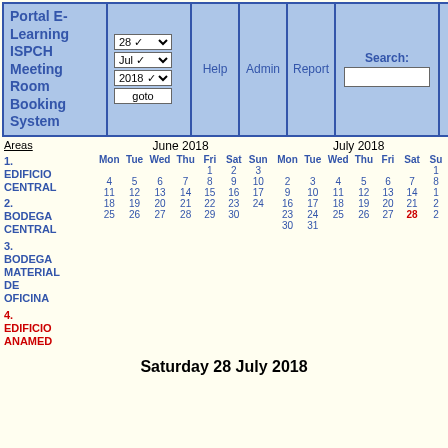Portal E-Learning ISPCH Meeting Room Booking System
Help Admin Report Search: Unknown user Log in goto 28 Jul 2018
Areas
June 2018
July 2018
| Mon | Tue | Wed | Thu | Fri | Sat | Sun |
| --- | --- | --- | --- | --- | --- | --- |
|  |  |  |  | 1 | 2 | 3 |
| 4 | 5 | 6 | 7 | 8 | 9 | 10 |
| 11 | 12 | 13 | 14 | 15 | 16 | 17 |
| 18 | 19 | 20 | 21 | 22 | 23 | 24 |
| 25 | 26 | 27 | 28 | 29 | 30 |  |
| Mon | Tue | Wed | Thu | Fri | Sat | Su |
| --- | --- | --- | --- | --- | --- | --- |
|  |  |  |  |  |  | 1 |
| 2 | 3 | 4 | 5 | 6 | 7 | 8 |
| 9 | 10 | 11 | 12 | 13 | 14 | 1 |
| 16 | 17 | 18 | 19 | 20 | 21 | 2 |
| 23 | 24 | 25 | 26 | 27 | 28 | 2 |
| 30 | 31 |  |  |  |  |  |
1. EDIFICIO CENTRAL
2. BODEGA CENTRAL
3. BODEGA MATERIAL DE OFICINA
4. EDIFICIO ANAMED
Saturday 28 July 2018